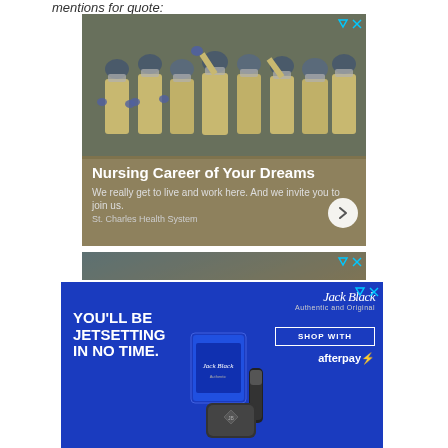mentions for quote:
[Figure (photo): Advertisement for St. Charles Health System featuring a group of healthcare workers in full PPE (yellow gowns, blue hair covers, masks, and gloves) posing together. Text overlay reads 'Nursing Career of Your Dreams - We really get to live and work here. And we invite you to join us. St. Charles Health System']
[Figure (photo): Partial second advertisement showing similar healthcare worker imagery, partially visible]
[Figure (photo): Jack Black advertisement with blue background. Text reads 'YOU'LL BE JETSETTING IN NO TIME.' with Jack Black logo, 'Authentic and Original' tagline, 'SHOP WITH' button, and afterpay logo. Product images of Jack Black grooming products visible.]